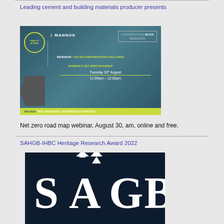Leading cement and building materials producer presents
[Figure (photo): Mannok webinar banner: 'Webinar: The Decarbonisation Challenge – Mannok's Net Zero Roadmap', Tuesday 30th August, 11:00am - 12:00pm, Speaker: Paul Monaghan, Sustainability Manager. Construction Buzz Webinars logo. Free to attend badge.]
Net zero road map webinar, August 30, am, online and free.
SAHGB-IHBC Heritage Research Award 2022
[Figure (logo): SAGB logo in white on dark navy background]